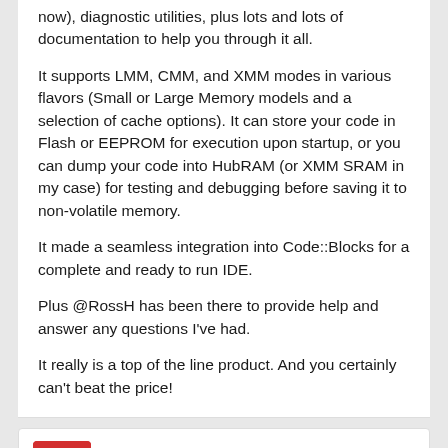now), diagnostic utilities, plus lots and lots of documentation to help you through it all.
It supports LMM, CMM, and XMM modes in various flavors (Small or Large Memory models and a selection of cache options). It can store your code in Flash or EEPROM for execution upon startup, or you can dump your code into HubRAM (or XMM SRAM in my case) for testing and debugging before saving it to non-volatile memory.
It made a seamless integration into Code::Blocks for a complete and ready to run IDE.
Plus @RossH has been there to provide help and answer any questions I've had.
It really is a top of the line product. And you certainly can't beat the price!
Wingineer19    Posts: 217